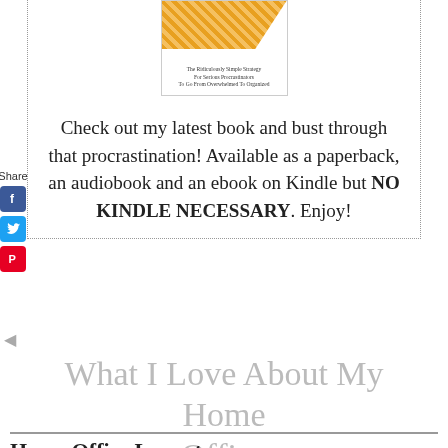[Figure (illustration): Book cover for a procrastination self-help book with diagonal hatched yellow/orange triangle pattern and subtitle text]
Check out my latest book and bust through that procrastination! Available as a paperback, an audiobook and an ebook on Kindle but NO KINDLE NECESSARY. Enjoy!
[Figure (infographic): Share icons column: Facebook (blue), Twitter (blue bird), Pinterest (red P)]
What I Love About My Home Office
Home Office Layout